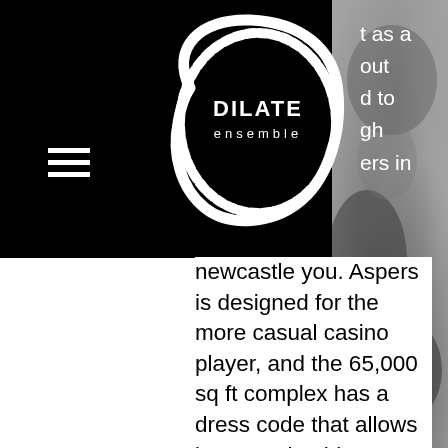[Figure (logo): Dilate Ensemble logo: white hand-drawn oval/circle shape on black background with text 'DILATE ensemble' in the center]
t as a
out
d to
gh
ers in
newcastle you. Aspers is designed for the more casual casino player, and the 65,000 sq ft complex has a dress code that allows jeans and t-shirts. Unlike some of the casinos in london, aspers casino does not require a membership. It is open to the public, which is great because it offers more games. Upcoming events, tickets, information, and maps for aspers casino and sky bar in london from ents24. Com, the uk's biggest entertainment guide. The site remains today one of the busiest casinos outside of london and is an established entertainment destination within newcastle's vibrant city centre. Parking &amp; transport; dress code, membership &amp; id; what's
[Figure (photo): Black and white close-up photograph showing textured grainy surface, possibly rocks or abstract pattern]